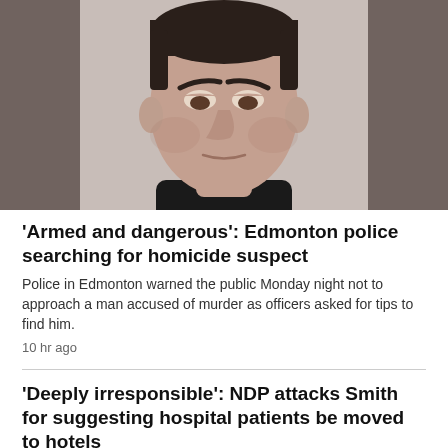[Figure (photo): Mugshot-style photo of a man with dark hair, looking downward, wearing a black shirt, against a light background.]
'Armed and dangerous': Edmonton police searching for homicide suspect
Police in Edmonton warned the public Monday night not to approach a man accused of murder as officers asked for tips to find him.
10 hr ago
'Deeply irresponsible': NDP attacks Smith for suggesting hospital patients be moved to hotels